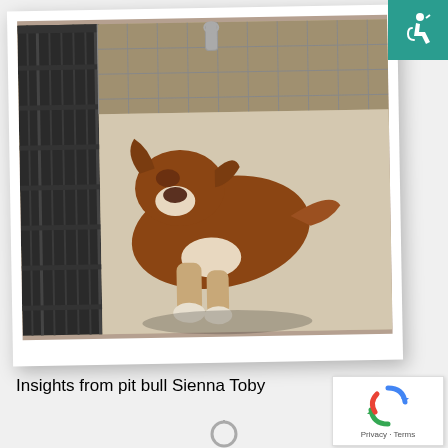[Figure (photo): A brown and white pit bull dog lying on a light-colored floor inside a kennel with dark metal cage bars visible on the left side. The dog appears to be resting with its head down and white paws extended forward.]
Insights from pit bull Sienna Toby
[Figure (logo): Accessibility wheelchair icon in a teal/green square in the top right corner]
[Figure (logo): reCAPTCHA logo with Privacy and Terms text in bottom right corner]